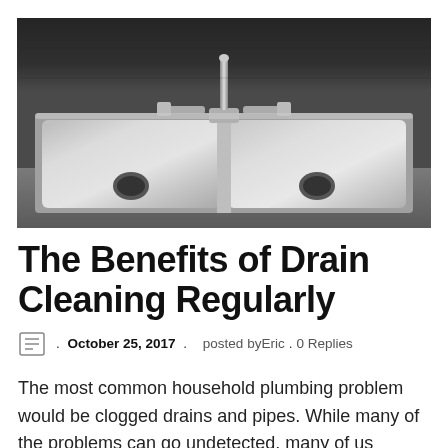[Figure (photo): Photograph of a stainless steel double-basin kitchen sink with two lever-handle faucets against a dark gray background, viewed from slightly above]
The Benefits of Drain Cleaning Regularly
. October 25, 2017 . posted by Eric . 0 Replies
The most common household plumbing problem would be clogged drains and pipes. While many of the problems can go undetected, many of us without calling